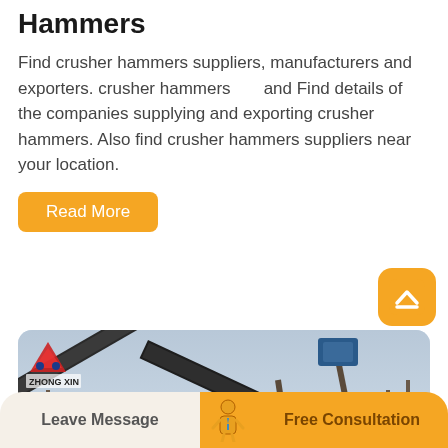Hammers
Find crusher hammers suppliers, manufacturers and exporters. crusher hammers and Find details of the companies supplying and exporting crusher hammers. Also find crusher hammers suppliers near your location.
Read More
[Figure (photo): Industrial crusher/conveyor machinery at a mining or quarrying site, with the Zhong Xin logo visible in the top left corner of the image.]
Leave Message | Free Consultation